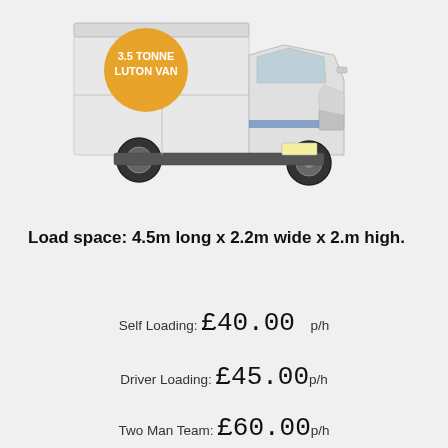[Figure (illustration): A white 3.5 tonne Luton van with a large orange circle badge on the side reading '3.5 TONNE LUTON VAN' in white text]
Load space: 4.5m long x 2.2m wide x 2.m high.
Self Loading: £40.00 p/h
Driver Loading: £45.00p/h
Two Man Team: £60.00p/h